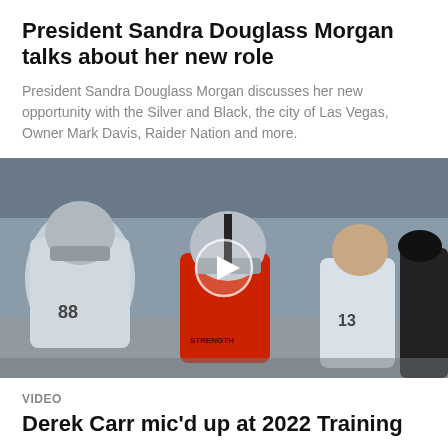President Sandra Douglass Morgan talks about her new role
President Sandra Douglass Morgan discusses her new opportunity with the Silver and Black, the city of Las Vegas, Owner Mark Davis, Raider Nation and more.
[Figure (photo): Football players at training camp, with a quarterback in a red jersey in the center, wearing a helmet, with other players around him. A video play button overlay is visible in the center.]
VIDEO
Derek Carr mic'd up at 2022 Training